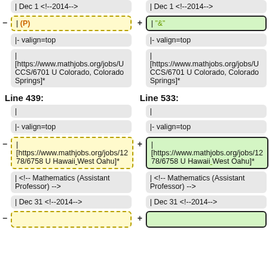| Dec 1 <!--2014-->
| Dec 1 <!--2014-->
| (P)
| "&"
|- valign=top
|- valign=top
| [https://www.mathjobs.org/jobs/U CCS/6701 U Colorado, Colorado Springs]*
| [https://www.mathjobs.org/jobs/U CCS/6701 U Colorado, Colorado Springs]*
Line 439:
Line 533:
|
|
|- valign=top
|- valign=top
| [https://www.mathjobs.org/jobs/12 78/6758 U Hawaii West Oahu]*
| [https://www.mathjobs.org/jobs/12 78/6758 U Hawaii West Oahu]*
| <!-- Mathematics (Assistant Professor) -->
| <!-- Mathematics (Assistant Professor) -->
| Dec 31 <!--2014-->
| Dec 31 <!--2014-->